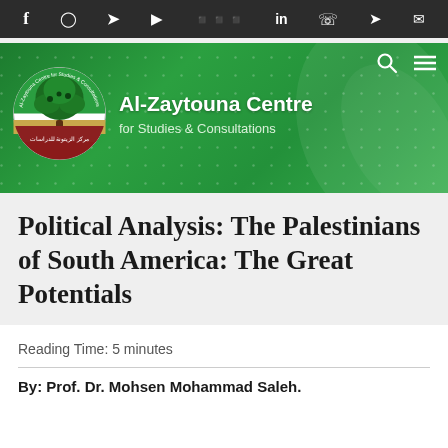f  IG  twitter  youtube  soundcloud  in  whatsapp  telegram  mail
[Figure (logo): Al-Zaytouna Centre for Studies and Consultations green banner with logo (olive tree) and organization name]
Political Analysis: The Palestinians of South America: The Great Potentials
Reading Time: 5 minutes
By: Prof. Dr. Mohsen Mohammad Saleh.